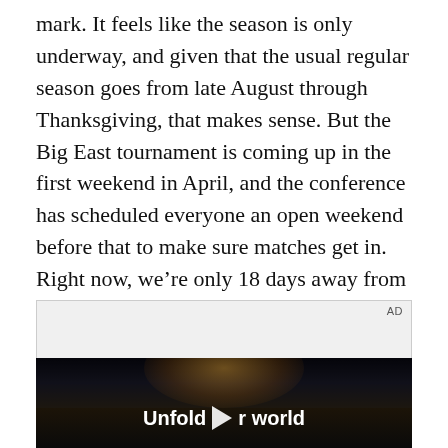mark. It feels like the season is only underway, and given that the usual regular season goes from late August through Thanksgiving, that makes sense. But the Big East tournament is coming up in the first weekend in April, and the conference has scheduled everyone an open weekend before that to make sure matches get in. Right now, we're only 18 days away from MU's final scheduled match of the regular season.
[Figure (other): Advertisement video player showing a dark scene inside a car with a person holding a device, with 'Unfold your world' text overlay and a play button. AD label in top right corner.]